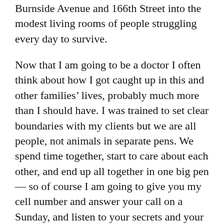Burnside Avenue and 166th Street into the modest living rooms of people struggling every day to survive.
Now that I am going to be a doctor I often think about how I got caught up in this and other families' lives, probably much more than I should have. I was trained to set clear boundaries with my clients but we are all people, not animals in separate pens. We spend time together, start to care about each other, and end up all together in one big pen — so of course I am going to give you my cell number and answer your call on a Sunday, and listen to your secrets and your children's secrets.
I am relieved to no longer be holding D's family secrets but feel privileged to have been trusted by people who knew nothing about me other than my dedication to